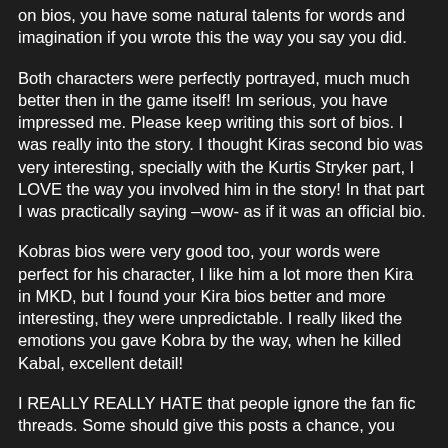on bios, you have some natural talents for words and imagination if you wrote this the way you say you did.
Both characters were perfectly portrayed, much much better then in the game itself! Im serious, you have impressed me. Please keep writing this sort of bios. I was really into the story. I thought Kiras second bio was very interesting, specially with the Kurtis Stryker part, I LOVE the way you involved him in the story! In that part I was practically saying –wow- as if it was an official bio.
Kobras bios were very good too, your words were perfect for his character, I like him a lot more then Kira in MKD, but I found your Kira bios better and more interesting, they were unpredictable. I really liked the emotions you gave Kobra by the way, when he killed Kabal, excellent detail!
I REALLY REALLY HATE that people ignore the fan fic threads. Some should give this posts a chance, you